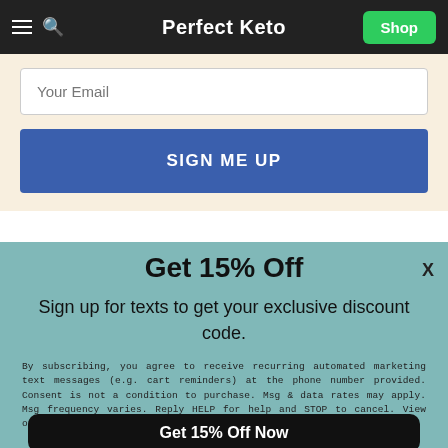Perfect Keto
Your Email
SIGN ME UP
Get 15% Off
Sign up for texts to get your exclusive discount code.
By subscribing, you agree to receive recurring automated marketing text messages (e.g. cart reminders) at the phone number provided. Consent is not a condition to purchase. Msg & data rates may apply. Msg frequency varies. Reply HELP for help and STOP to cancel. View our Terms of Service and Privacy Policy.
Get 15% Off Now